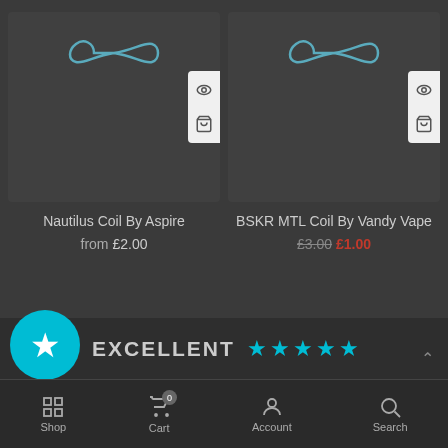[Figure (screenshot): Product card for Nautilus Coil By Aspire with infinity icon and action panel]
Nautilus Coil By Aspire
from £2.00
[Figure (screenshot): Product card for BSKR MTL Coil By Vandy Vape with infinity icon and action panel]
BSKR MTL Coil By Vandy Vape
£3.00 £1.00
EXCELLENT ★★★★★
Shop | Cart | Account | Search